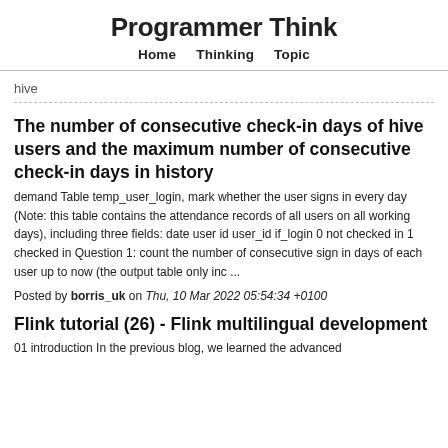Programmer Think
Home   Thinking   Topic
hive
The number of consecutive check-in days of hive users and the maximum number of consecutive check-in days in history
demand Table temp_user_login, mark whether the user signs in every day (Note: this table contains the attendance records of all users on all working days), including three fields: date user id user_id if_login 0 not checked in 1 checked in Question 1: count the number of consecutive sign in days of each user up to now (the output table only inc ...
Posted by borris_uk on Thu, 10 Mar 2022 05:54:34 +0100
Flink tutorial (26) - Flink multilingual development
01 introduction In the previous blog, we learned the advanced